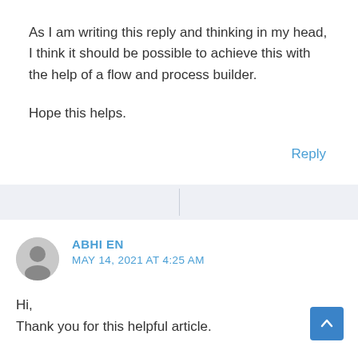As I am writing this reply and thinking in my head, I think it should be possible to achieve this with the help of a flow and process builder.
Hope this helps.
Reply
ABHI EN
MAY 14, 2021 AT 4:25 AM
Hi,
Thank you for this helpful article.